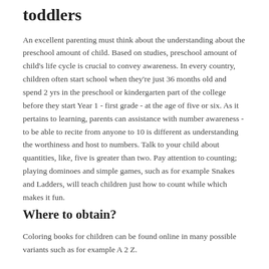toddlers
An excellent parenting must think about the understanding about the preschool amount of child. Based on studies, preschool amount of child's life cycle is crucial to convey awareness. In every country, children often start school when they're just 36 months old and spend 2 yrs in the preschool or kindergarten part of the college before they start Year 1 - first grade - at the age of five or six. As it pertains to learning, parents can assistance with number awareness - to be able to recite from anyone to 10 is different as understanding the worthiness and host to numbers. Talk to your child about quantities, like, five is greater than two. Pay attention to counting; playing dominoes and simple games, such as for example Snakes and Ladders, will teach children just how to count while which makes it fun.
Where to obtain?
Coloring books for children can be found online in many possible variants such as for example A 2 Z.